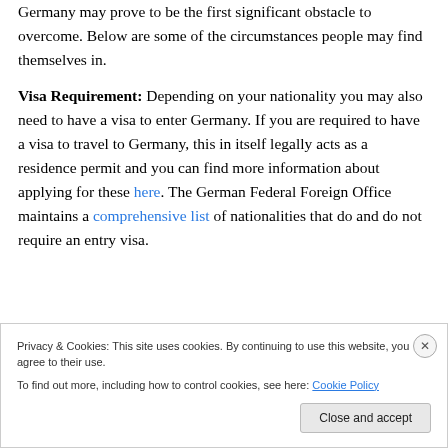Depending on a person's circumstances, simply getting to Germany may prove to be the first significant obstacle to overcome. Below are some of the circumstances people may find themselves in.
Visa Requirement: Depending on your nationality you may also need to have a visa to enter Germany. If you are required to have a visa to travel to Germany, this in itself legally acts as a residence permit and you can find more information about applying for these here. The German Federal Foreign Office maintains a comprehensive list of nationalities that do and do not require an entry visa.
Privacy & Cookies: This site uses cookies. By continuing to use this website, you agree to their use. To find out more, including how to control cookies, see here: Cookie Policy
Close and accept